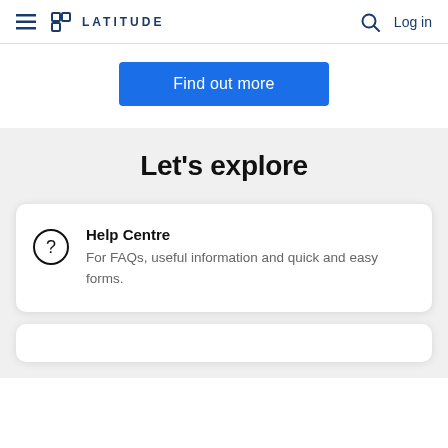LATITUDE | Log in
Find out more
Let's explore
Help Centre
For FAQs, useful information and quick and easy forms.